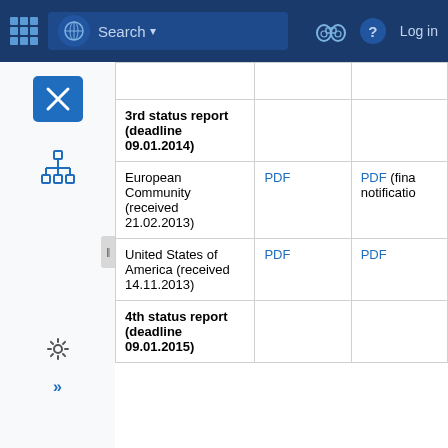UN document portal navigation bar with search, binoculars, help and login
|  |  |  |
| --- | --- | --- |
| 3rd status report (deadline 09.01.2014) |  |  |
| European Community (received 21.02.2013) | PDF | PDF (fina notificatio |
| United States of America (received 14.11.2013) | PDF | PDF |
| 4th status report (deadline 09.01.2015) |  |  |